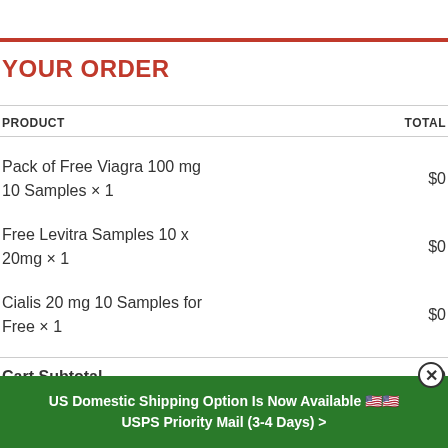YOUR ORDER
| PRODUCT | TOTAL |
| --- | --- |
| Pack of Free Viagra 100 mg 10 Samples × 1 | $0 |
| Free Levitra Samples 10 x 20mg × 1 | $0 |
| Cialis 20 mg 10 Samples for Free × 1 | $0 |
| Cart Subtotal | $0 |
US Domestic Shipping Option Is Now Available 🇺🇸 USPS Priority Mail (3-4 Days) >